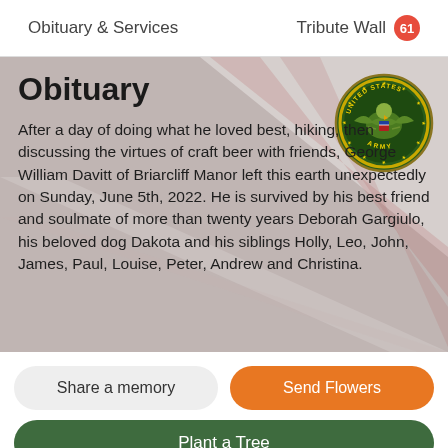Obituary & Services    Tribute Wall 61
Obituary
[Figure (logo): United States Army seal/emblem — circular gold and green badge with eagle, shield, and 'UNITED STATES ARMY' text]
After a day of doing what he loved best, hiking, then discussing the virtues of craft beer with friends, George William Davitt of Briarcliff Manor left this earth unexpectedly on Sunday, June 5th, 2022. He is survived by his best friend and soulmate of more than twenty years Deborah Gargiulo, his beloved dog Dakota and his siblings Holly, Leo, John, James, Paul, Louise, Peter, Andrew and Christina.
Share a memory
Send Flowers
Plant a Tree